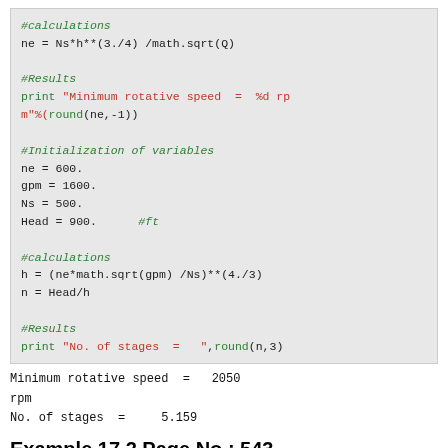#calculations
ne = Ns*h**(3./4) /math.sqrt(Q)

#Results
print "Minimum rotative speed  =  %d rpm"%(round(ne,-1))

#Initialization of variables
ne = 600.
gpm = 1600.
Ns = 500.
Head = 900.      #ft

#calculations
h = (ne*math.sqrt(gpm) /Ns)**(4./3)
n = Head/h

#Results
print "No. of stages  =  ",round(n,3)
Minimum rotative speed  =  2050 rpm
No. of stages  =   5.159
Example 17.2 Page No : 543